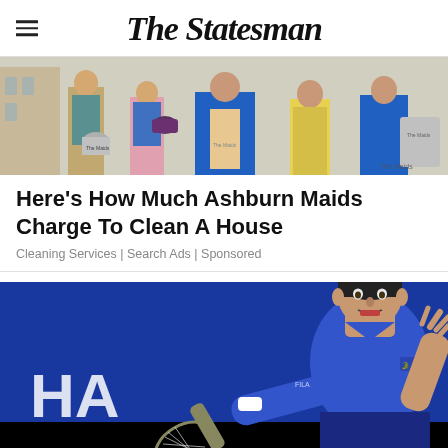The Statesman
[Figure (photo): Group of maids/cleaning staff in blue uniforms carrying cleaning supplies and buckets with 'The Maids' branding]
Here's How Much Ashburn Maids Charge To Clean A House
Cleaning Services | Search Ads | Sponsored
[Figure (photo): Novak Djokovic playing tennis in a blue Lacoste polo shirt, hitting a forehand shot, with 'HA' text visible in background at what appears to be the US Open]